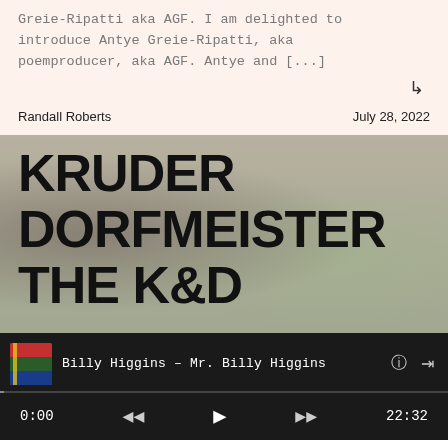Greie-Ripatti aka AGF. I am delighted to introduce Antye Greie-Ripatti, aka poemproducer, aka AGF. Antye and [...]
↳
Randall Roberts
July 28, 2022
[Figure (photo): Blurred outdoor photo with large bold text overlay reading KRUDER DORFMEISTER THE K&D]
Billy Higgins – Mr. Billy Higgins
0:00
22:32